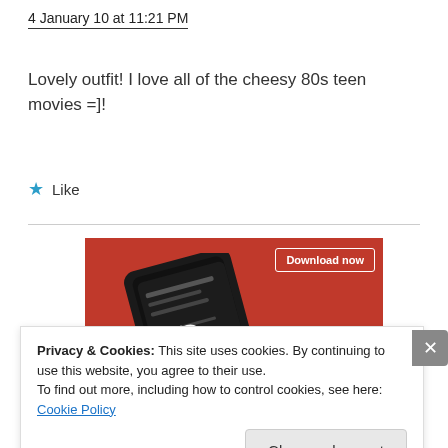4 January 10 at 11:21 PM
Lovely outfit! I love all of the cheesy 80s teen movies =]!
★ Like
[Figure (photo): Advertisement showing a smartphone on a red background with a 'Download now' button]
Privacy & Cookies: This site uses cookies. By continuing to use this website, you agree to their use.
To find out more, including how to control cookies, see here: Cookie Policy
Close and accept